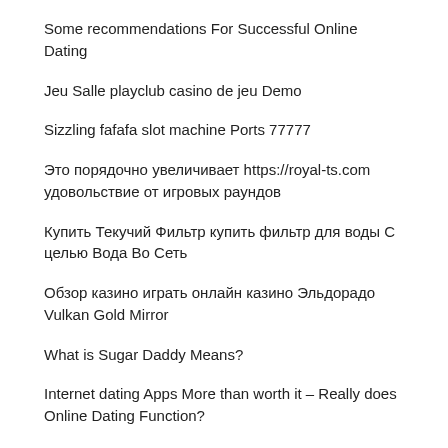Some recommendations For Successful Online Dating
Jeu Salle playclub casino de jeu Demo
Sizzling fafafa slot machine Ports 77777
Это порядочно увеличивает https://royal-ts.com удовольствие от игровых раундов
Купить Текучий Фильтр купить фильтр для воды С целью Вода Во Сеть
Обзор казино играть онлайн казино Эльдорадо Vulkan Gold Mirror
What is Sugar Daddy Means?
Internet dating Apps More than worth it – Really does Online Dating Function?
Marine best baby crib mattress Camping tent Costs